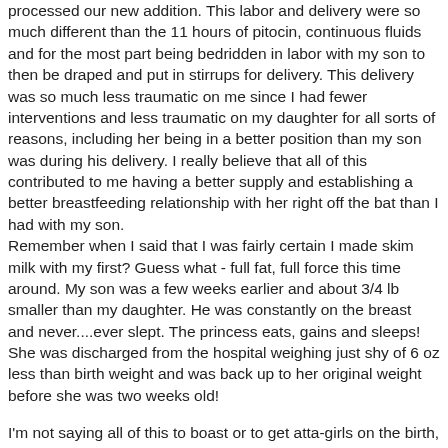processed our new addition. This labor and delivery were so much different than the 11 hours of pitocin, continuous fluids and for the most part being bedridden in labor with my son to then be draped and put in stirrups for delivery. This delivery was so much less traumatic on me since I had fewer interventions and less traumatic on my daughter for all sorts of reasons, including her being in a better position than my son was during his delivery. I really believe that all of this contributed to me having a better supply and establishing a better breastfeeding relationship with her right off the bat than I had with my son.
Remember when I said that I was fairly certain I made skim milk with my first? Guess what - full fat, full force this time around. My son was a few weeks earlier and about 3/4 lb smaller than my daughter. He was constantly on the breast and never....ever slept. The princess eats, gains and sleeps! She was discharged from the hospital weighing just shy of 6 oz less than birth weight and was back up to her original weight before she was two weeks old!
I'm not saying all of this to boast or to get atta-girls on the birth, my supply or even my wonderful daughter. I am saying all of this because it is NIGHT AND DAY from one child to